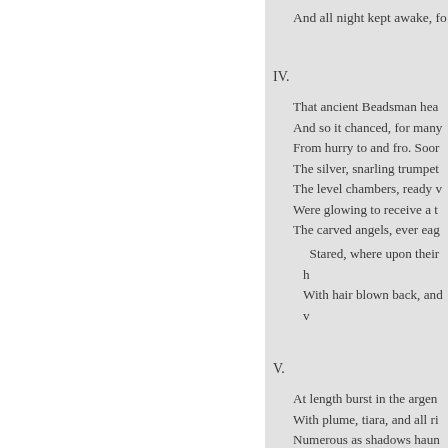And all night kept awake, fo
IV.
That ancient Beadsman hea
And so it chanced, for many
From hurry to and fro. Soor
The silver, snarling trumpet
The level chambers, ready v
Were glowing to receive a t
The carved angels, ever eag
Stared, where upon their h
With hair blown back, and v
V.
At length burst in the argen
With plume, tiara, and all ri
Numerous as shadows haun